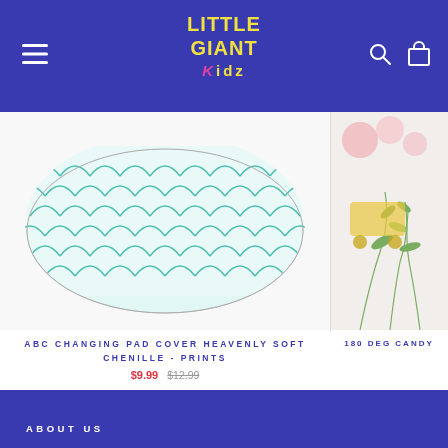Little Giant Kidz — navigation header
[Figure (photo): ABC Changing Pad Cover product photo — teal/white scale-patterned rectangular pad on white background]
[Figure (photo): Partial view of a second product — 180 Degrees Candy item with floral/greenery background, partially cropped on right edge]
ABC CHANGING PAD COVER HEAVENLY SOFT CHENILLE - PRINTS
$9.99  $12.99
180 DEG CANDY
ABOUT US